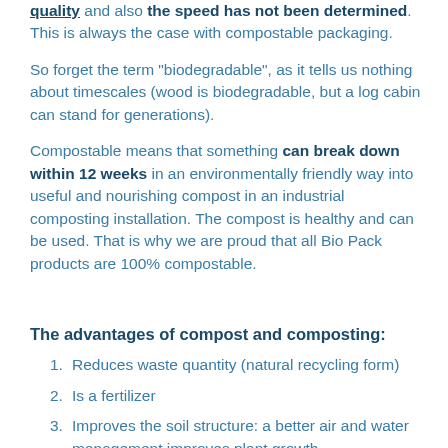quality and also the speed has not been determined. This is always the case with compostable packaging.
So forget the term "biodegradable", as it tells us nothing about timescales (wood is biodegradable, but a log cabin can stand for generations).
Compostable means that something can break down within 12 weeks in an environmentally friendly way into useful and nourishing compost in an industrial composting installation. The compost is healthy and can be used. That is why we are proud that all Bio Pack products are 100% compostable.
The advantages of compost and composting:
1. Reduces waste quantity (natural recycling form)
2. Is a fertilizer
3. Improves the soil structure: a better air and water management improves plant growth